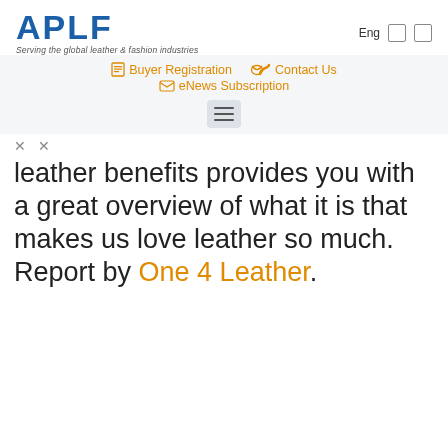APLF — Serving the global leather & fashion industries
Buyer Registration | Contact Us | eNews Subscription
leather benefits provides you with a great overview of what it is that makes us love leather so much. Report by One 4 Leather.